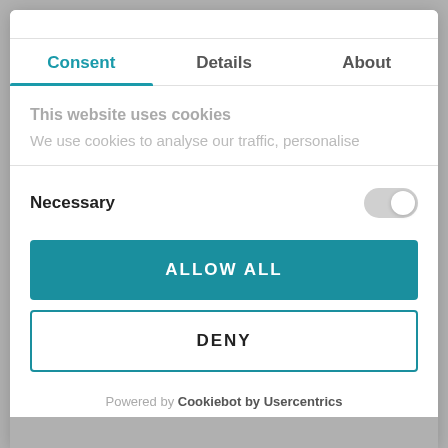Consent | Details | About
This website uses cookies
We use cookies to analyse our traffic, personalise
Necessary
ALLOW ALL
DENY
Powered by Cookiebot by Usercentrics